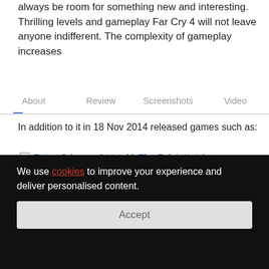always be room for something new and interesting. Thrilling levels and gameplay Far Cry 4 will not leave anyone indifferent. The complexity of gameplay increases
About  Review  Screenshots  Video
In addition to it in 18 Nov 2014 released games such as:
□ Etrian Odyssey 2 Untold: The Fafnir Knight
□ Sunset Overdrive
□ Castlevania: Lords of Shadow 2
□ Lara Croft and the Temple of Osiris
In addition to Far Cry 4, the representatives of Adventure games also belong:
We use cookies to improve your experience and deliver personalised content.